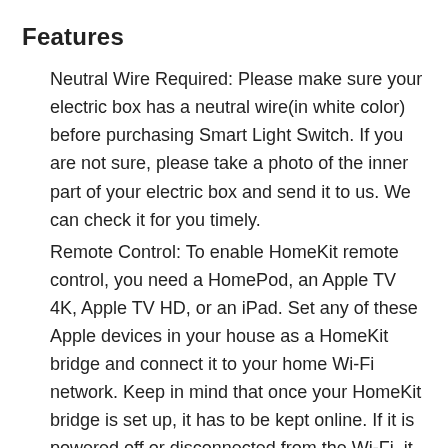Features
Neutral Wire Required: Please make sure your electric box has a neutral wire(in white color) before purchasing Smart Light Switch. If you are not sure, please take a photo of the inner part of your electric box and send it to us. We can check it for you timely.
Remote Control: To enable HomeKit remote control, you need a HomePod, an Apple TV 4K, Apple TV HD, or an iPad. Set any of these Apple devices in your house as a HomeKit bridge and connect it to your home Wi-Fi network. Keep in mind that once your HomeKit bridge is set up, it has to be kept online. If it is powered off or disconnected from the Wi-Fi, it will fail to respond when you intend to control the device remotely.
Voice Control: Compatible with Apple HomeKit,